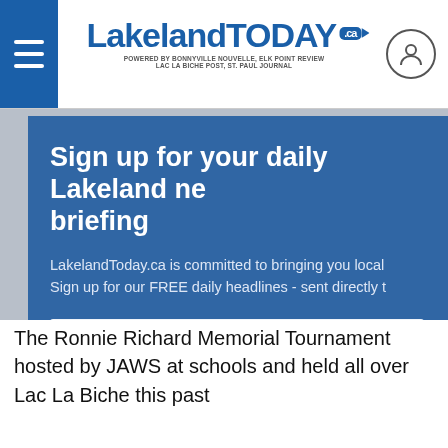LakelandToday.ca — POWERED BY BONNYVILLE NOUVELLE, ELK POINT REVIEW, LAC LA BICHE POST, ST. PAUL JOURNAL
Sign up for your daily Lakeland news briefing
LakelandToday.ca is committed to bringing you local news. Sign up for our FREE daily headlines - sent directly to
Email address
Don't worry: we won't share your information with anyone, and you
The Ronnie Richard Memorial Tournament hosted by JAWS at schools and held all over Lac La Biche this past